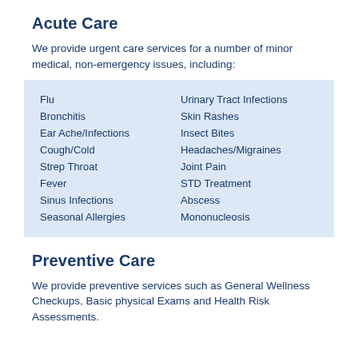Acute Care
We provide urgent care services for a number of minor medical, non-emergency issues, including:
Flu
Bronchitis
Ear Ache/Infections
Cough/Cold
Strep Throat
Fever
Sinus Infections
Seasonal Allergies
Urinary Tract Infections
Skin Rashes
Insect Bites
Headaches/Migraines
Joint Pain
STD Treatment
Abscess
Mononucleosis
Preventive Care
We provide preventive services such as General Wellness Checkups, Basic physical Exams and Health Risk Assessments.